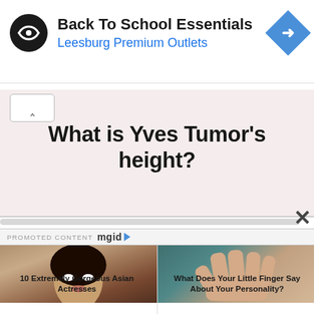[Figure (screenshot): Advertisement banner: Back To School Essentials at Leesburg Premium Outlets with circular logo and blue diamond navigation icon]
What is Yves Tumor's height?
PROMOTED CONTENT mgid
[Figure (photo): Photo of a woman with dark hair and striking white eyes]
10 Extremely Gorgeous Asian Actresses
[Figure (photo): Close-up photo of an outstretched hand showing fingers against a teal background]
What Does Your Little Finger Say About Your Personality?